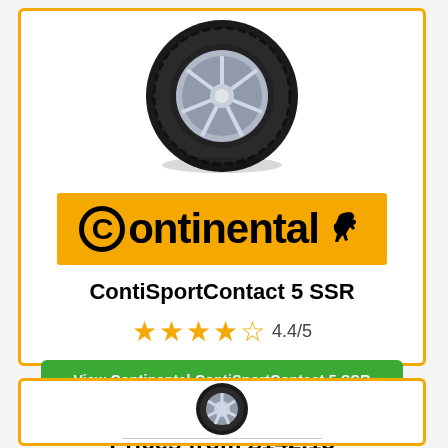[Figure (photo): Continental ContiSportContact 5 SSR tyre product photo on alloy wheel]
[Figure (logo): Continental brand logo on orange/gold background with rearing horse icon]
ContiSportContact 5 SSR
4.4/5 star rating
View Continental ContiSportContact 5 SSR Tyres
Prices from £142.15
[Figure (photo): Second tyre product image (partially visible at bottom)]